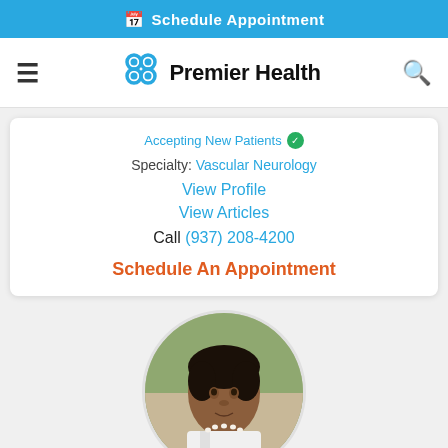Schedule Appointment
[Figure (logo): Premier Health logo with teal cross/flower icon and 'Premier Health' text]
Accepting New Patients
Specialty: Vascular Neurology
View Profile
View Articles
Call (937) 208-4200
Schedule An Appointment
[Figure (photo): Circular portrait photo of a female doctor with dark hair wearing a white coat and pearl necklace, outdoors background]